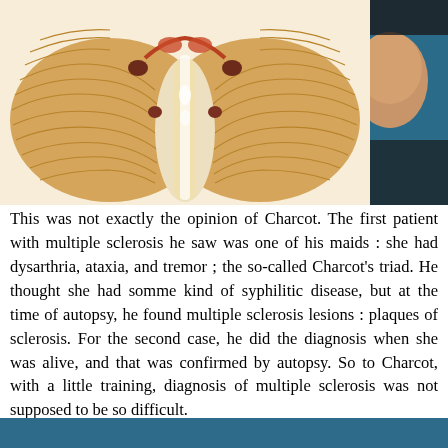[Figure (illustration): Historical anatomical illustration of a cerebellum (inferior view), showing the two hemispheres with folded surface (folia), vermis in center, and dark lesion markings. Rendered in warm tan/orange tones on cream background.]
[Figure (photo): Partial portrait photo of a person (right side of page, cropped), on dark teal/blue background.]
This was not exactly the opinion of Charcot. The first patient with multiple sclerosis he saw was one of his maids : she had dysarthria, ataxia, and tremor ; the so-called Charcot's triad. He thought she had somme kind of syphilitic disease, but at the time of autopsy, he found multiple sclerosis lesions : plaques of sclerosis. For the second case, he did the diagnosis when she was alive, and that was confirmed by autopsy. So to Charcot, with a little training, diagnosis of multiple sclerosis was not supposed to be so difficult.
[Figure (other): Blue/teal horizontal bar at the bottom of the page.]